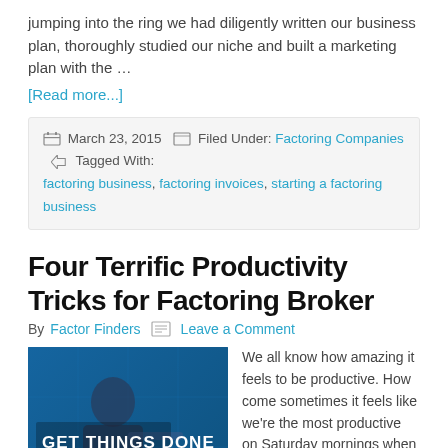jumping into the ring we had diligently written our business plan, thoroughly studied our niche and built a marketing plan with the …
[Read more...]
March 23, 2015   Filed Under: Factoring Companies   Tagged With: factoring business, factoring invoices, starting a factoring business
Four Terrific Productivity Tricks for Factoring Broker
By Factor Finders   Leave a Comment
[Figure (photo): Person in business suit pointing at a screen with text 'GET THINGS DONE']
We all know how amazing it feels to be productive. How come sometimes it feels like we're the most productive on Saturday mornings when we don't necessarily have to be? Being productive at the office can be a challenge, but it's not impossible. Setting yourself up for success is crucial to getting the most out of your time. The following tips include small changes that factoring business owners can make in their day-to-day activities to maximize their productivity. Turn on an alarm clock Most of us only